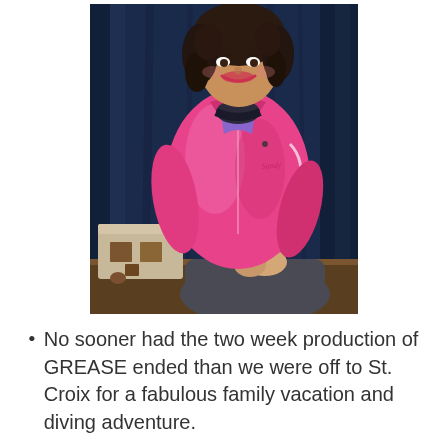[Figure (photo): A woman in a bright pink jacket (Pink Ladies jacket from Grease) with a purple top and dark pants, sitting on a desk or table. She is smiling and has dark curly hair. Behind her is a dark blue curtain backdrop. On the table to her left is a small object resembling a sewing machine or prop. Stage lighting illuminates her.]
No sooner had the two week production of GREASE ended than we were off to St. Croix for a fabulous family vacation and diving adventure.